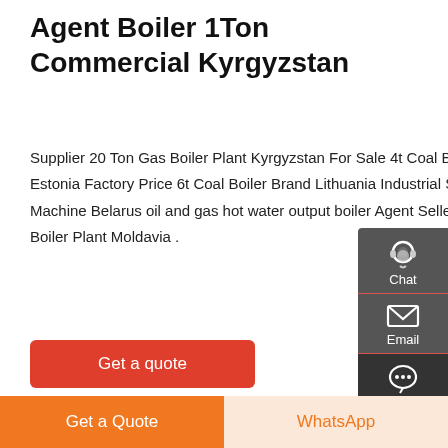Agent Boiler 1Ton Commercial Kyrgyzstan
Supplier 20 Ton Gas Boiler Plant Kyrgyzstan For Sale 4t Coal Boiler Brand Estonia Factory Price 6t Coal Boiler Brand Lithuania Industrial Supplier 2t Boiler Machine Belarus oil and gas hot water output boiler Agent Seller Commercial 20t Boiler Plant Moldavia .
[Figure (other): Red 'Get a quote' button]
[Figure (photo): Industrial boiler plant interior photograph showing large circular boiler equipment and piping]
[Figure (other): Sidebar with Chat, Email, and Contact icons on dark grey background]
[Figure (other): Bottom bar with orange 'Get a Quote' button and light 'WhatsApp' button]